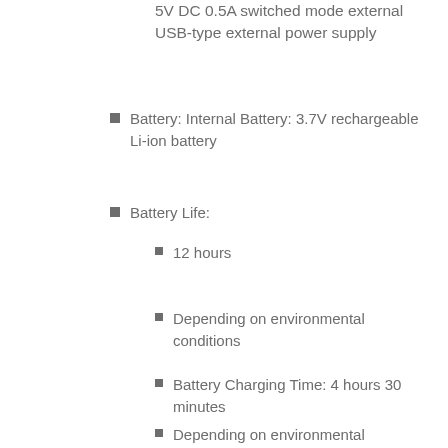Power Supply: 100-240V AC (50/60Hz), to 5V DC 0.5A switched mode external USB-type external power supply
Battery: Internal Battery: 3.7V rechargeable Li-ion battery
Battery Life:
12 hours
Depending on environmental conditions
Battery Charging Time: 4 hours 30 minutes
Depending on environmental conditions